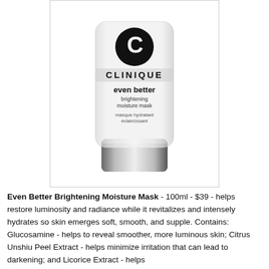[Figure (photo): Clinique Even Better Brightening Moisture Mask product tube, white with black Clinique logo and text, silver cap at bottom]
Even Better Brightening Moisture Mask - 100ml - $39 - helps restore luminosity and radiance while it revitalizes and intensely hydrates so skin emerges soft, smooth, and supple. Contains: Glucosamine - helps to reveal smoother, more luminous skin; Citrus Unshiu Peel Extract - helps minimize irritation that can lead to darkening; and Licorice Extract - helps